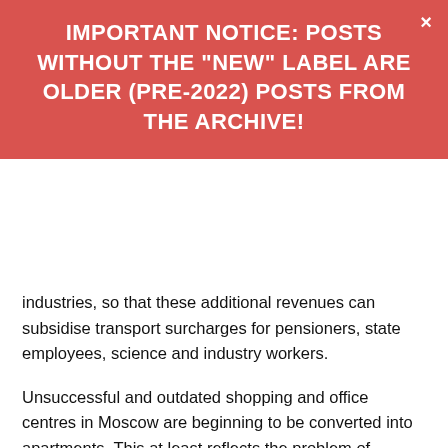IMPORTANT NOTICE: POSTS WITHOUT THE "NEW" LABEL ARE OLDER (PRE-2022) POSTS FROM THE ARCHIVE!
industries, so that these additional revenues can subsidise transport surcharges for pensioners, state employees, science and industry workers.
Unsuccessful and outdated shopping and office centres in Moscow are beginning to be converted into apartments. This at least reflects the problem of redundancy of such real estate and rethinking the issuance of permits for the construction of new facilities. Closing some outdated and unprofitable properties will allow buyers and tenants to concentrate in a smaller number of properties, increase their profitability, rent and taxes. In this way, taxes on industrial real estate can be reduced, and the return of